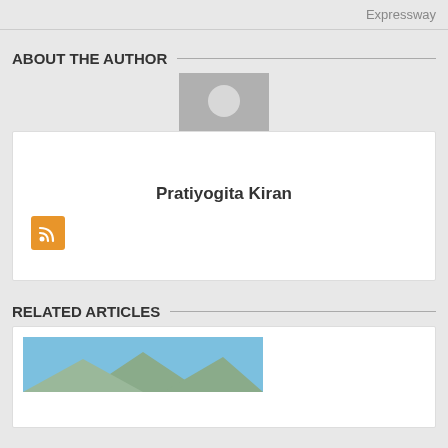Expressway
ABOUT THE AUTHOR
[Figure (illustration): Default user avatar placeholder — grey silhouette of a person on a grey square background]
Pratiyogita Kiran
[Figure (logo): Orange RSS feed icon button]
RELATED ARTICLES
[Figure (photo): Partial photo showing a mountain or terrain under a blue sky, cropped at bottom of page]